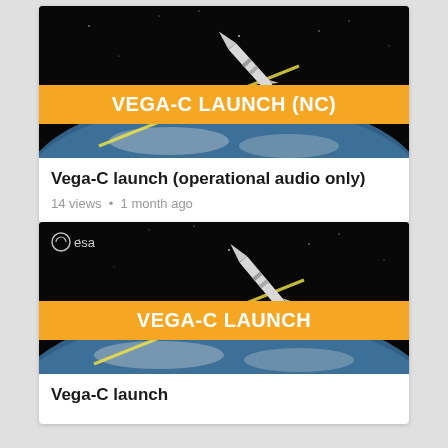[Figure (screenshot): Video thumbnail showing ESA Vega-C rocket launch animation against black space background with Earth visible, orange banner reading VEGA-C LAUNCH (NC)]
Vega-C launch (operational audio only)
14 views • 1 month ago
[Figure (screenshot): Video thumbnail showing ESA Vega-C rocket launch animation against black space background with Earth visible, orange banner reading VEGA-C LAUNCH, ESA logo top-left]
Vega-C launch